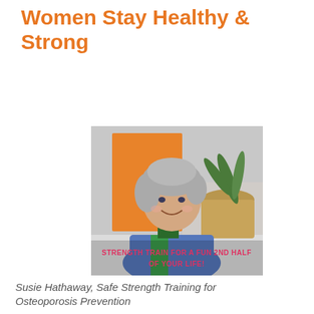Women Stay Healthy & Strong
[Figure (photo): A smiling older woman with grey hair wearing a blue and green outfit, seated in front of an orange wall with a potted plant. Overlaid text reads: STRENGTH TRAIN FOR A FUN 2ND HALF OF YOUR LIFE!]
Susie Hathaway, Safe Strength Training for Osteoporosis Prevention